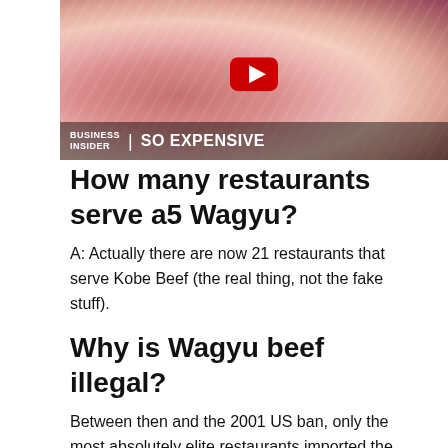[Figure (screenshot): Business Insider 'So Expensive' YouTube video thumbnail showing a close-up of marbled Wagyu beef steak with a YouTube play button overlay and 'BUSINESS INSIDER | SO EXPENSIVE' text overlay at the bottom]
How many restaurants serve a5 Wagyu?
A: Actually there are now 21 restaurants that serve Kobe Beef (the real thing, not the fake stuff).
Why is Wagyu beef illegal?
Between then and the 2001 US ban, only the most absolutely elite restaurants imported the beef. The US initially banned Kobe beef